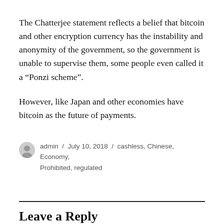The Chatterjee statement reflects a belief that bitcoin and other encryption currency has the instability and anonymity of the government, so the government is unable to supervise them, some people even called it a “Ponzi scheme”.
However, like Japan and other economies have bitcoin as the future of payments.
admin / July 10, 2018 / cashless, Chinese, Economy, Prohibited, regulated
Leave a Reply